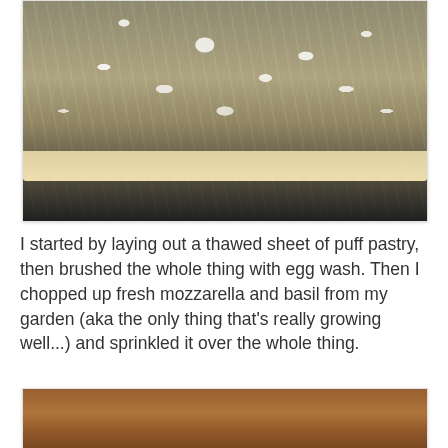[Figure (photo): A sheet of puff pastry laid flat on a dark baking tray, topped with chunks of fresh mozzarella and chopped basil leaves, before baking.]
I started by laying out a thawed sheet of puff pastry, then brushed the whole thing with egg wash. Then I chopped up fresh mozzarella and basil from my garden (aka the only thing that's really growing well...) and sprinkled it over the whole thing.
[Figure (photo): A partially visible photo of what appears to be the baked puff pastry tart, showing a golden-brown crust.]